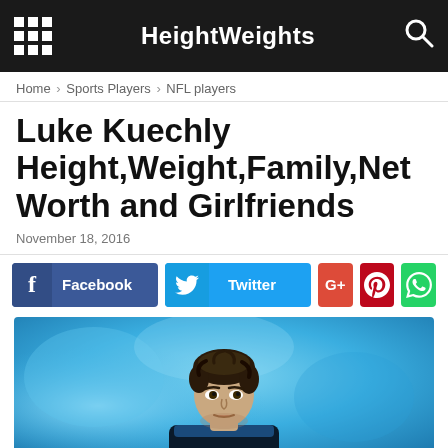HeightWeights
Home › Sports Players › NFL players
Luke Kuechly Height,Weight,Family,Net Worth and Girlfriends
November 18, 2016
[Figure (screenshot): Social sharing buttons: Facebook, Twitter, Google+, Pinterest, WhatsApp]
[Figure (photo): Photo of Luke Kuechly, NFL player, against a blue background]